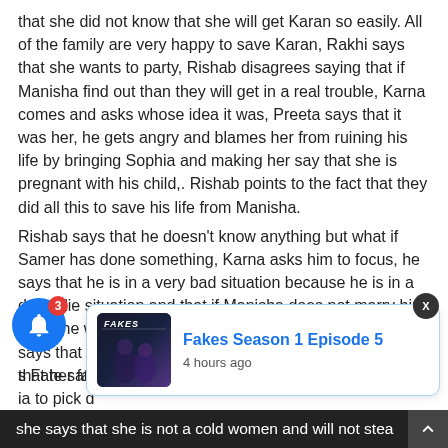that she did not know that she will get Karan so easily. All of the family are very happy to save Karan, Rakhi says that she wants to party, Rishab disagrees saying that if Manisha find out than they will get in a real trouble, Karna comes and asks whose idea it was, Preeta says that it was her, he gets angry and blames her from ruining his life by bringing Sophia and making her say that she is pregnant with his child,. Rishab points to the fact that they did all this to save his life from Manisha.
Rishab says that he doesn't know anything but what if Samer has done something, Karna asks him to focus, he says that he is in a very bad situation because he is in a do or die situation and that if Manisha does not marry him than she will make sure that Sophia marries him, Shrishti says that she will not because It is the dream of every girl; that her family is with her in her marriage.
[Figure (screenshot): Notification popup card showing 'Fakes Season 1 Episode 5' with thumbnail and '4 hours ago' timestamp, with a blue circle notification bell icon showing badge count 3]
s Fate sat ia to pick a she says that she is not a cold women and will not stea